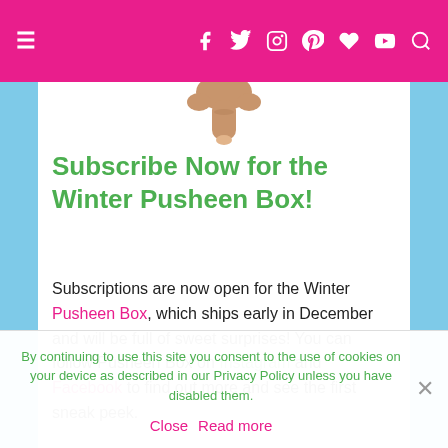≡  [social icons: Facebook, Twitter, Instagram, Pinterest, Wishlist, YouTube, Search]
[Figure (illustration): Partial illustration of a cartoon hand/paw pointing downward, visible at the top of the content area]
Subscribe Now for the Winter Pusheen Box!
Subscriptions are now open for the Winter Pusheen Box, which ships early in December and will be full of sweet surprises! You can follow Pusheen Box on Instagram and Facebook to find out more and see the first sneak peek.
By continuing to use this site you consent to the use of cookies on your device as described in our Privacy Policy unless you have disabled them. Close  Read more